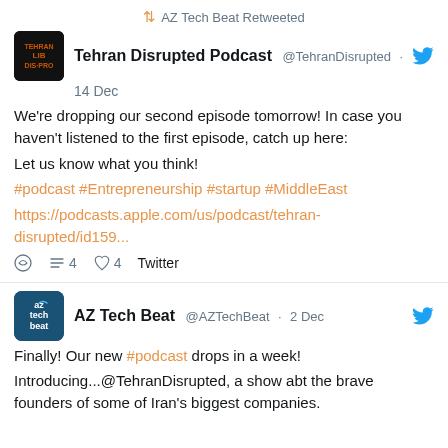AZ Tech Beat Retweeted
Tehran Disrupted Podcast @TehranDisrupted
14 Dec
We're dropping our second episode tomorrow! In case you haven't listened to the first episode, catch up here:

Let us know what you think!
#podcast #Entrepreneurship #startup #MiddleEast

https://podcasts.apple.com/us/podcast/tehran-disrupted/id159...
4  4  Twitter
AZ Tech Beat @AZTechBeat · 2 Dec
Finally! Our new #podcast drops in a week!

Introducing...@TehranDisrupted, a show abt the brave founders of some of Iran's biggest companies.